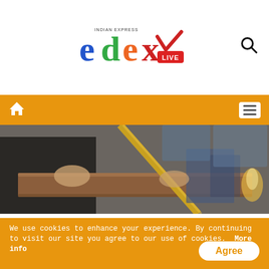[Figure (logo): Edex Live logo from Indian Express, colorful letters e-d-e-x with LIVE badge]
[Figure (photo): Close-up photo of people at a desk or table, appears to be an official/educational meeting]
From inception: Dr Hegde joined NAAC in 1996
Although it was successfully implemented, NAAC had a hard time trying to convince
We use cookies to enhance your experience. By continuing to visit our site you agree to our use of cookies. More info